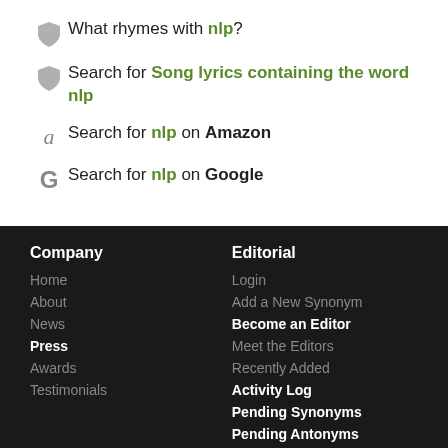What rhymes with nlp?
Search for Song lyrics containing the word nlp
Search for nlp on Amazon
Search for nlp on Google
Company
Home
About
News
Press
Awards
Testimonials
Editorial
Login
Add a New Synonym
Become an Editor
Meet the Editors
Recently Added
Activity Log
Pending Synonyms
Pending Antonyms
Random Entry
Services
Tools
Legal & Contact
Terms of Use